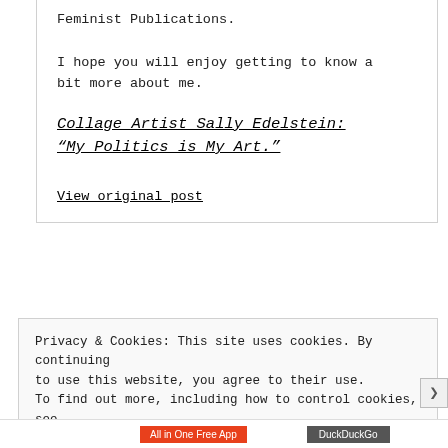Feminist Publications.
I hope you will enjoy getting to know a bit more about me.
Collage Artist Sally Edelstein: “My Politics is My Art.”
View original post
Privacy & Cookies: This site uses cookies. By continuing to use this website, you agree to their use. To find out more, including how to control cookies, see here: Cookie Policy
Close and accept